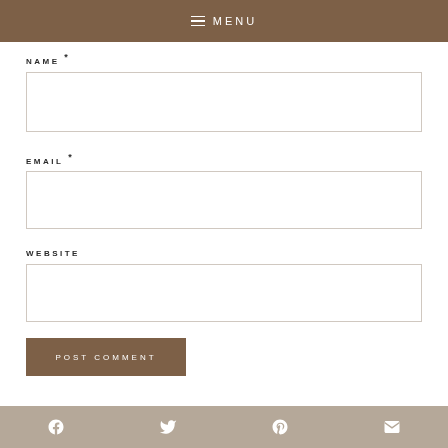MENU
NAME *
EMAIL *
WEBSITE
POST COMMENT
Social share icons: Facebook, Twitter, Pinterest, Email